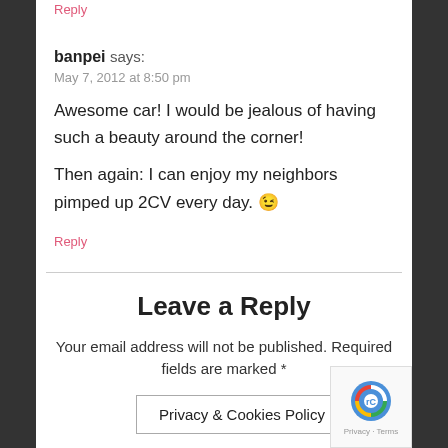Reply
banpei says:
May 7, 2012 at 8:50 pm
Awesome car! I would be jealous of having such a beauty around the corner!
Then again: I can enjoy my neighbors pimped up 2CV every day. 😉
Reply
Leave a Reply
Your email address will not be published. Required fields are marked *
Privacy & Cookies Policy